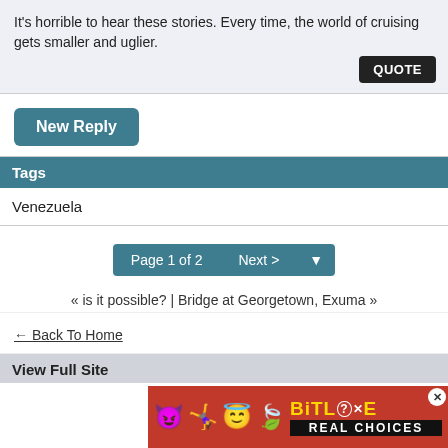It's horrible to hear these stories. Every time, the world of cruising gets smaller and uglier.
QUOTE
New Reply
Tags
Venezuela
Page 1 of 2  Next >
« is it possible? | Bridge at Georgetown, Exuma »
← Back To Home
View Full Site
[Figure (illustration): BitLife Real Choices advertisement banner with emoji characters]